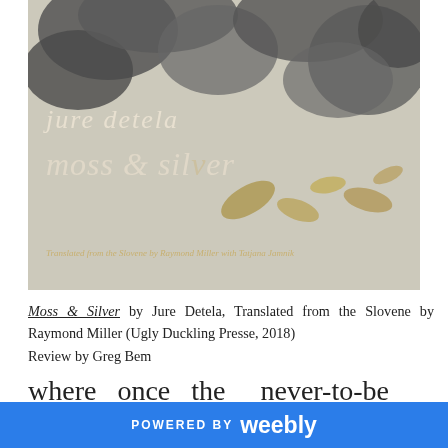[Figure (photo): Book cover of 'Moss & Silver' by Jure Detela, showing grey and gold abstract blob shapes on a textured light background with the author name and book title in italic cream text, and a translator credit line at the bottom.]
Moss & Silver by Jure Detela, Translated from the Slovene by Raymond Miller (Ugly Duckling Presse, 2018)
Review by Greg Bem
where once the never-to-be repeated gull
POWERED BY weebly